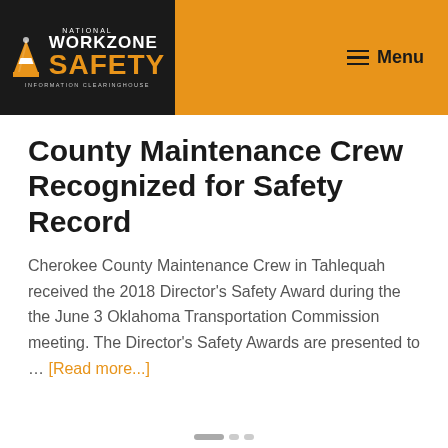National Workzone Safety Information Clearinghouse | Menu
County Maintenance Crew Recognized for Safety Record
Cherokee County Maintenance Crew in Tahlequah received the 2018 Director's Safety Award during the the June 3 Oklahoma Transportation Commission meeting. The Director's Safety Awards are presented to … [Read more...]